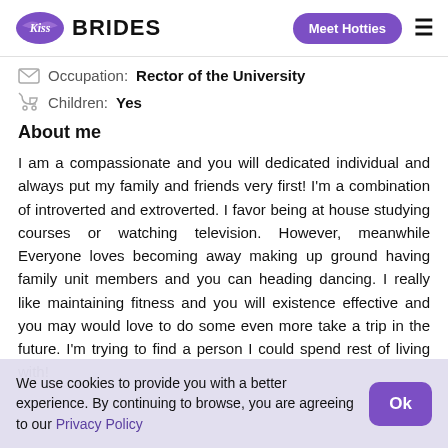Kiss Brides | Meet Hotties
Occupation: Rector of the University
Children: Yes
About me
I am a compassionate and you will dedicated individual and always put my family and friends very first! I'm a combination of introverted and extroverted. I favor being at house studying courses or watching television. However, meanwhile Everyone loves becoming away making up ground having family unit members and you can heading dancing. I really like maintaining fitness and you will existence effective and you may would love to do some even more take a trip in the future. I'm trying to find a person I could spend rest of living with!
We use cookies to provide you with a better experience. By continuing to browse, you are agreeing to our Privacy Policy